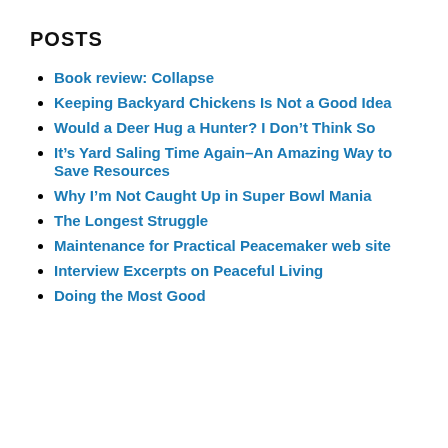POSTS
Book review: Collapse
Keeping Backyard Chickens Is Not a Good Idea
Would a Deer Hug a Hunter? I Don’t Think So
It’s Yard Saling Time Again–An Amazing Way to Save Resources
Why I’m Not Caught Up in Super Bowl Mania
The Longest Struggle
Maintenance for Practical Peacemaker web site
Interview Excerpts on Peaceful Living
Doing the Most Good